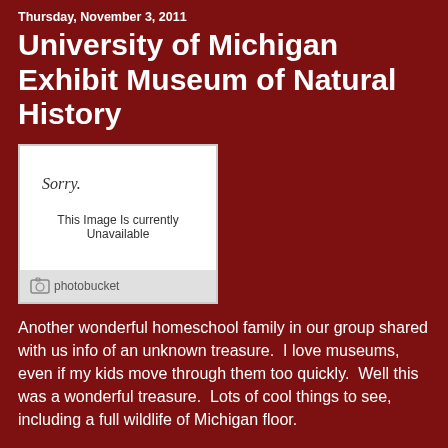Thursday, November 3, 2011
University of Michigan Exhibit Museum of Natural History
[Figure (photo): Photobucket placeholder image showing 'Sorry. This Image Is currently Unavailable']
Another wonderful homeschool family in our group shared with us info of an unknown treasure.  I love museums, even if my kids move through them too quickly.  Well this was a wonderful treasure.  Lots of cool things to see, including a full wildlife of Michigan floor.
Our trip started rocky, stayed a little rocky throughout the museum.  Brayden was anxious and then the hungries hit.  I tried to snap a few shots to share of some of the awesome exhibits.  I am just glad that we live close enough to make